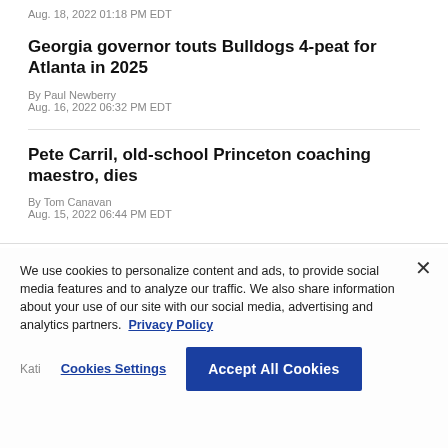Aug. 18, 2022 01:18 PM EDT
Georgia governor touts Bulldogs 4-peat for Atlanta in 2025
By Paul Newberry
Aug. 16, 2022 06:32 PM EDT
Pete Carril, old-school Princeton coaching maestro, dies
By Tom Canavan
Aug. 15, 2022 06:44 PM EDT
We use cookies to personalize content and ads, to provide social media features and to analyze our traffic. We also share information about your use of our site with our social media, advertising and analytics partners. Privacy Policy
Cookies Settings | Accept All Cookies